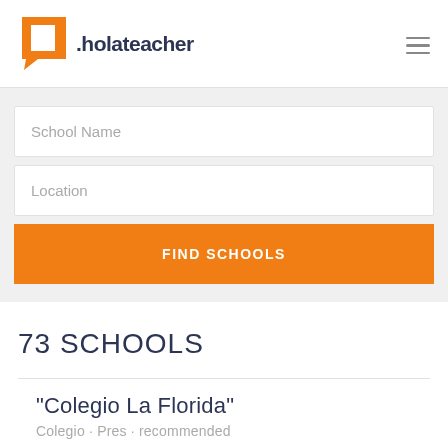[Figure (logo): holateacher logo with orange speech bubble icon and dark blue text '.holateacher']
School Name
Location
FIND SCHOOLS
73 SCHOOLS
“Colegio La Florida”